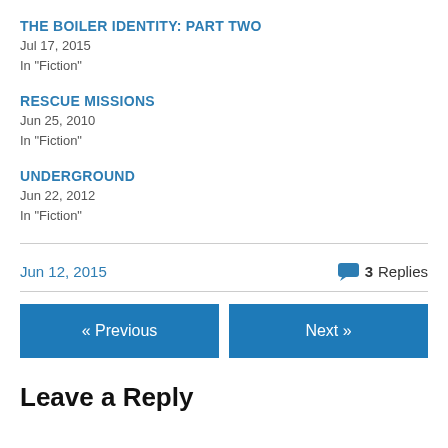THE BOILER IDENTITY: PART TWO
Jul 17, 2015
In "Fiction"
RESCUE MISSIONS
Jun 25, 2010
In "Fiction"
UNDERGROUND
Jun 22, 2012
In "Fiction"
Jun 12, 2015
3 Replies
« Previous
Next »
Leave a Reply